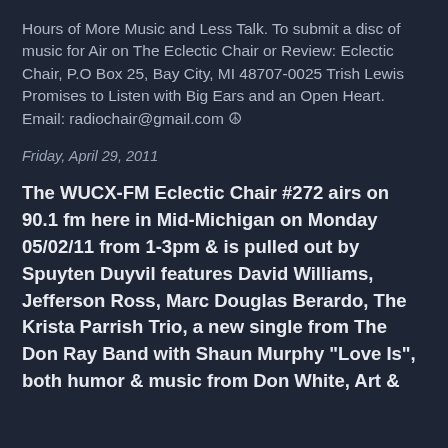Hours of More Music and Less Talk. To submit a disc of music for Air on The Eclectic Chair or Review: Eclectic Chair, P.O Box 25, Bay City, MI 48707-0025 Trish Lewis Promises to Listen with Big Ears and an Open Heart. Email: radiochair@gmail.com ☮
Friday, April 29, 2011
The WUCX-FM Eclectic Chair #272 airs on 90.1 fm here in Mid-Michigan on Monday 05/02/11 from 1-3pm & is pulled out by Spuyten Duyvil features David Williams, Jefferson Ross, Marc Douglas Berardo, The Krista Parrish Trio, a new single from The Don Ray Band with Shaun Murphy "Love Is", both humor & music from Don White, Art &